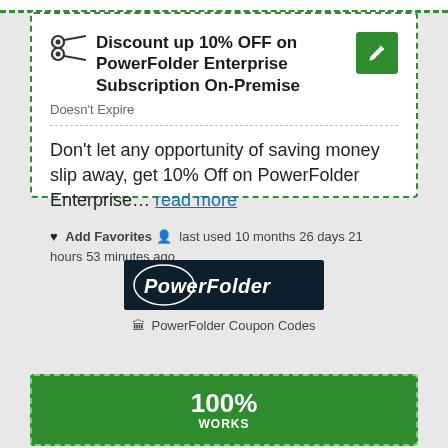Discount up 10% OFF on PowerFolder Enterprise Subscription On-Premise
Doesn't Expire
Don't let any opportunity of saving money slip away, get 10% Off on PowerFolder Enterprise… read more
♥ Add Favorites  last used 10 months 26 days 21 hours 53 minutes ago
[Figure (logo): PowerFolder logo on dark navy background]
PowerFolder Coupon Codes
100% WORKS